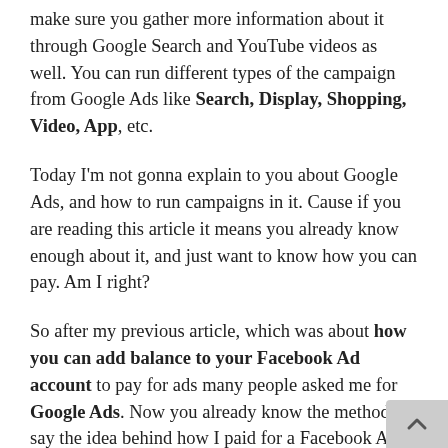make sure you gather more information about it through Google Search and YouTube videos as well. You can run different types of the campaign from Google Ads like Search, Display, Shopping, Video, App, etc.
Today I'm not gonna explain to you about Google Ads, and how to run campaigns in it. Cause if you are reading this article it means you already know enough about it, and just want to know how you can pay. Am I right?
So after my previous article, which was about how you can add balance to your Facebook Ad account to pay for ads many people asked me for Google Ads. Now you already know the method or say the idea behind how I paid for a Facebook Ad...